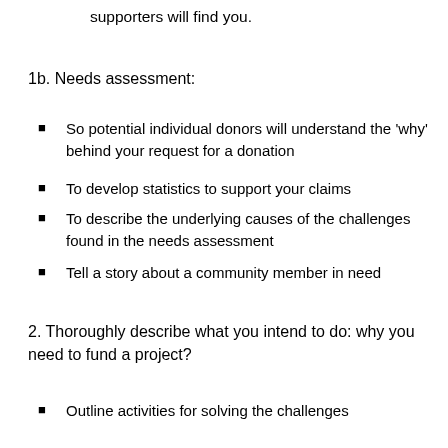supporters will find you.
1b. Needs assessment:
So potential individual donors will understand the ‘why’ behind your request for a donation
To develop statistics to support your claims
To describe the underlying causes of the challenges found in the needs assessment
Tell a story about a community member in need
2. Thoroughly describe what you intend to do: why you need to fund a project?
Outline activities for solving the challenges